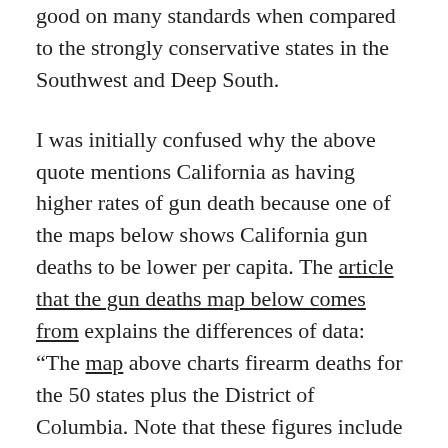good on many standards when compared to the strongly conservative states in the Southwest and Deep South.
I was initially confused why the above quote mentions California as having higher rates of gun death because one of the maps below shows California gun deaths to be lower per capita. The article that the gun deaths map below comes from explains the differences of data: “The map above charts firearm deaths for the 50 states plus the District of Columbia. Note that these figures include accidental shootings, suicides, even acts of self-defense, as well as